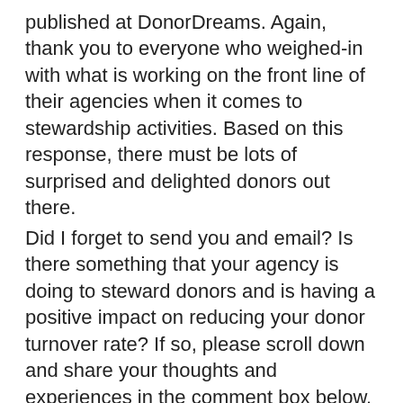published at DonorDreams. Again, thank you to everyone who weighed-in with what is working on the front line of their agencies when it comes to stewardship activities. Based on this response, there must be lots of surprised and delighted donors out there.
Did I forget to send you and email? Is there something that your agency is doing to steward donors and is having a positive impact on reducing your donor turnover rate? If so, please scroll down and share your thoughts and experiences in the comment box below. Why? Because we can all learn from each other.
Erik Anderson
Founder & President, The Healthy Non-Profit LLC
www.thehealthynonprofit.com
erik@thehealthynonprofit.com